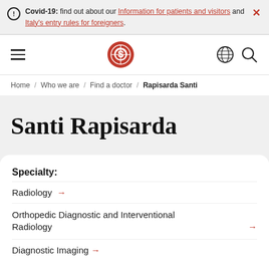Covid-19: find out about our Information for patients and visitors and Italy's entry rules for foreigners.
[Figure (screenshot): Navigation bar with hamburger menu, circular logo in red, globe icon, and search icon]
Home / Who we are / Find a doctor / Rapisarda Santi
Santi Rapisarda
Specialty:
Radiology →
Orthopedic Diagnostic and Interventional Radiology →
Diagnostic Imaging →